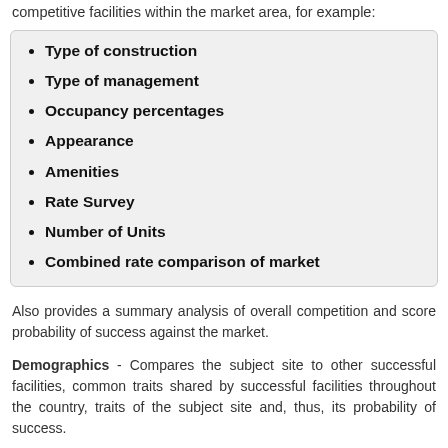competitive facilities within the market area, for example:
Type of construction
Type of management
Occupancy percentages
Appearance
Amenities
Rate Survey
Number of Units
Combined rate comparison of market
Also provides a summary analysis of overall competition and score probability of success against the market.
Demographics - Compares the subject site to other successful facilities, common traits shared by successful facilities throughout the country, traits of the subject site and, thus, its probability of success.
Market Demand for Space - Analyzes total square footage leased, extrapolates future growth of the area to determine amount of additional space needed.